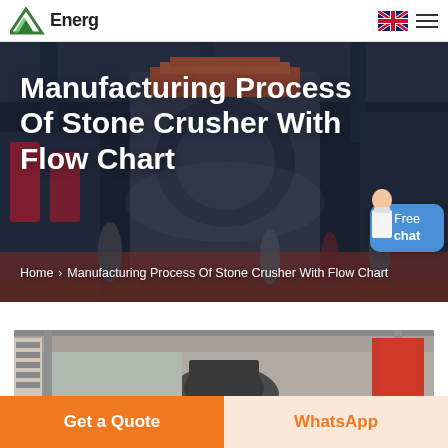Energ [logo] | [UK flag] [menu]
Manufacturing Process Of Stone Crusher With Flow Chart
Home > Manufacturing Process Of Stone Crusher With Flow Chart
[Figure (photo): Industrial stone crusher machinery in a factory setting with people posing in foreground]
[Figure (photo): Factory interior showing industrial stone crusher machinery]
Get a Quote
WhatsApp